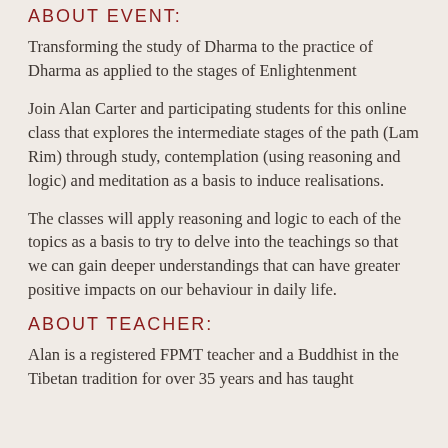ABOUT EVENT:
Transforming the study of Dharma to the practice of Dharma as applied to the stages of Enlightenment
Join Alan Carter and participating students for this online class that explores the intermediate stages of the path (Lam Rim) through study, contemplation (using reasoning and logic) and meditation as a basis to induce realisations.
The classes will apply reasoning and logic to each of the topics as a basis to try to delve into the teachings so that we can gain deeper understandings that can have greater positive impacts on our behaviour in daily life.
ABOUT TEACHER:
Alan is a registered FPMT teacher and a Buddhist in the Tibetan tradition for over 35 years and has taught